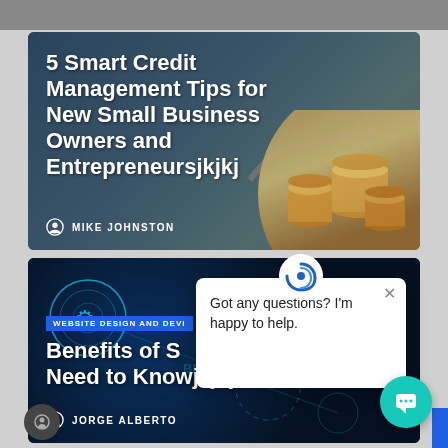[Figure (screenshot): Gray top navigation bar]
[Figure (photo): Article card with coins/money background — 5 Smart Credit Management Tips for New Small Business Owners and Entrepreneursjkjkj, by Mike Johnston]
5 Smart Credit Management Tips for New Small Business Owners and Entrepreneursjkjkj
MIKE JOHNSTON
[Figure (screenshot): Article card with dark tech/network background — Website Design and Development category, Benefits of S... You Need to Knowjkjkj, by Jorge Alberto]
WEBSITE DESIGN AND DEVI
Benefits of S... You Need to Knowjkjkj
JORGE ALBERTO
Got any questions? I'm happy to help.